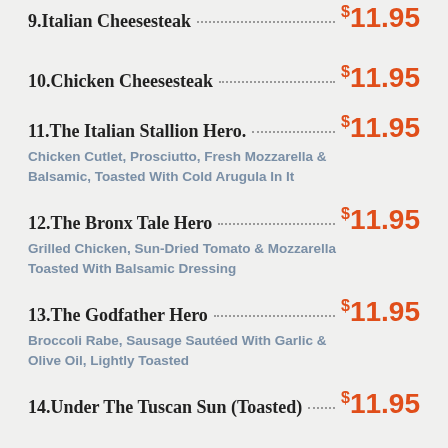9.Italian Cheesesteak $11.95
10.Chicken Cheesesteak $11.95
11.The Italian Stallion Hero. $11.95
Chicken Cutlet, Prosciutto, Fresh Mozzarella & Balsamic, Toasted With Cold Arugula In It
12.The Bronx Tale Hero $11.95
Grilled Chicken, Sun-Dried Tomato & Mozzarella Toasted With Balsamic Dressing
13.The Godfather Hero $11.95
Broccoli Rabe, Sausage Sautéed With Garlic & Olive Oil, Lightly Toasted
14.Under The Tuscan Sun (Toasted) $11.95